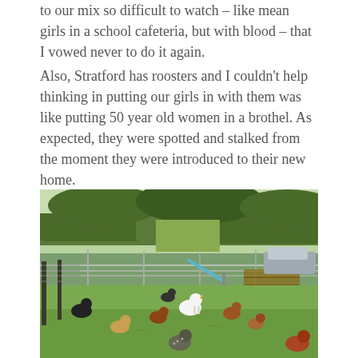to our mix so difficult to watch – like mean girls in a school cafeteria, but with blood – that I vowed never to do it again.
Also, Stratford has roosters and I couldn't help thinking in putting our girls in with them was like putting 50 year old women in a brothel. As expected, they were spotted and stalked from the moment they were introduced to their new home.
[Figure (photo): Outdoor chicken run/paddock with multiple chickens and roosters of various colors roaming on grass. A metal fence enclosure is visible, with farm equipment, trees, and a parked car in the background on a sunny day.]